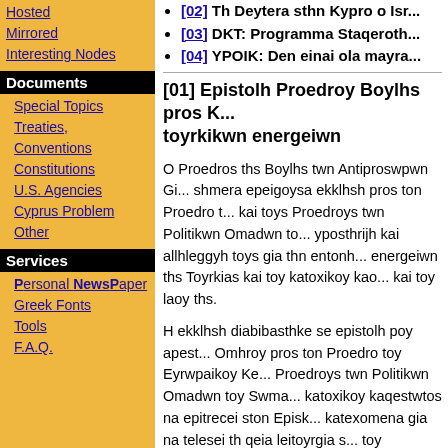Hosted
Mirrored
Interesting Nodes
Documents
Special Topics
Treaties, Conventions
Constitutions
U.S. Agencies
Cyprus Problem
Other
Services
Personal NewsPaper
Greek Fonts
Tools
F.A.Q.
[02] Th Deytera sthn Kypro o Isr...
[03] DKT: Programma Staqeroth...
[04] YPOIK: Den einai ola mayra...
[01] Epistolh Proedroy Boylhs pros K... toyrkikwn energeiwn
O Proedros ths Boylhs twn Antiproswpwn Gi... shmera epeigoysa ekklhsh pros ton Proedro t... kai toys Proedroys twn Politikwn Omadwn to... yposthrijh kai allhleggyh toys gia thn entonh... energeiwn ths Toyrkias kai toy katoxikoy kao... kai toy laoy ths.
H ekklhsh diabibasthke se epistolh poy apest... Omhroy pros ton Proedro toy Eyrwpaikoy Ke... Proedroys twn Politikwn Omadwn toy Swma... katoxikoy kaqestwtos na epitrecei ston Episk... katexomena gia na telesei th qeia leitoyrgia s... toy perifereias.
Sthn epistolh toy, o Proedros ths Boylhs epish... proklhtikh ayth energeia toy katoxikoy kaqes...